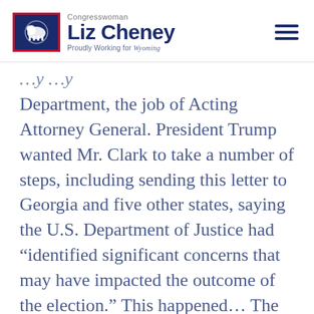Congresswoman Liz Cheney — Proudly Working for Wyoming
Department, the job of Acting Attorney General. President Trump wanted Mr. Clark to take a number of steps, including sending this letter to Georgia and five other states, saying the U.S. Department of Justice had “identified significant concerns that may have impacted the outcome of the election.” This happened... The Department of